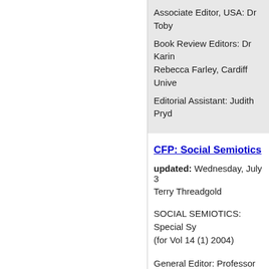Associate Editor, USA: Dr Toby...
Book Review Editors: Dr Karin... Rebecca Farley, Cardiff Unive...
Editorial Assistant: Judith Pryd...
CFP: Social Semiotics...
updated: Wednesday, July 3...
Terry Threadgold
SOCIAL SEMIOTICS: Special Sy... (for Vol 14 (1) 2004)
General Editor: Professor Terr...
Co-Editor: Dr Radhika Mohamm...